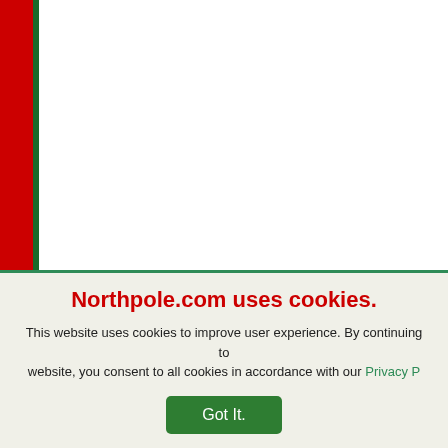J & D's Peanut Bu Balls
[Figure (illustration): Plate of assorted cookies illustration]
★★★★★ (5 stars)
American Cookies
[Figure (illustration): Plate of assorted cookies illustration]
Grandma Elsie's Z (Cinnamon) Cooki
★★★☆☆ (3 stars)
Drop Cookies
[Figure (illustration): Plate of assorted cookies illustration]
Double Chocolate Chip Cookies
No reviews yet
Northpole.com uses cookies.
This website uses cookies to improve user experience. By continuing to website, you consent to all cookies in accordance with our Privacy P
Got It.